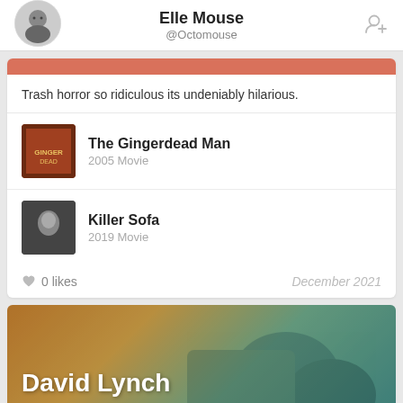Elle Mouse @Octomouse
Trash horror so ridiculous its undeniably hilarious.
The Gingerdead Man
2005 Movie
Killer Sofa
2019 Movie
0 likes
December 2021
David Lynch
2 tv shows   11 movies